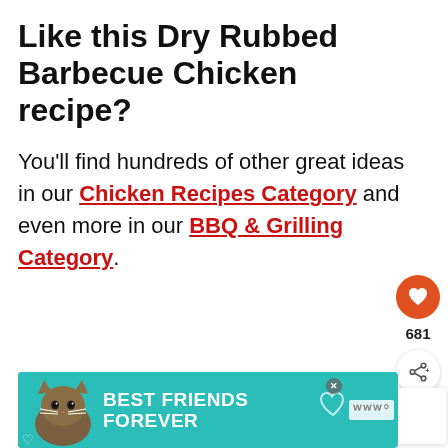Like this Dry Rubbed Barbecue Chicken recipe?
You'll find hundreds of other great ideas in our Chicken Recipes Category and even more in our BBQ & Grilling Category.
[Figure (screenshot): Social action sidebar with heart/like button (681 likes) and share button]
[Figure (screenshot): What's Next card showing Double Barbecue... with food thumbnail]
[Figure (infographic): Best Friends Forever pet food advertisement banner with cat and teal background]